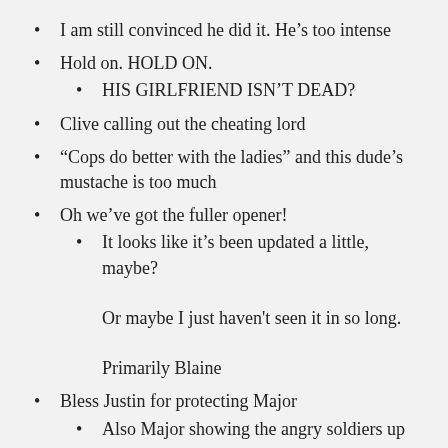I am still convinced he did it. He's too intense
Hold on. HOLD ON.
HIS GIRLFRIEND ISN'T DEAD?
Clive calling out the cheating lord
“Cops do better with the ladies” and this dude’s mustache is too much
Oh we've got the fuller opener!
It looks like it's been updated a little, maybe? Or maybe I just haven't seen it in so long. Primarily Blaine
Bless Justin for protecting Major
Also Major showing the angry soldiers up
This reminds me of the Major I do like from season 1